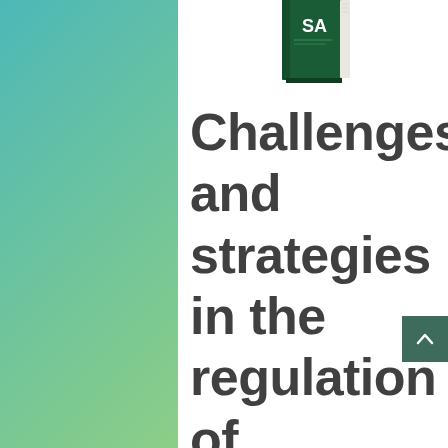[Figure (illustration): Partial view of a dark green book cover with white text 'SA' visible, shown at an angle at the top of the white card panel]
Challenges and strategies in the regulation of